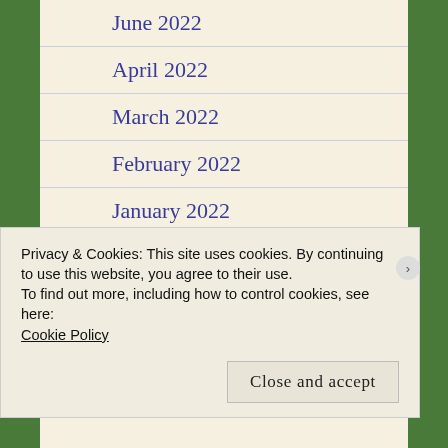June 2022
April 2022
March 2022
February 2022
January 2022
December 2021
November 2021
October 2021
September 2021
Privacy & Cookies: This site uses cookies. By continuing to use this website, you agree to their use.
To find out more, including how to control cookies, see here: Cookie Policy
Close and accept